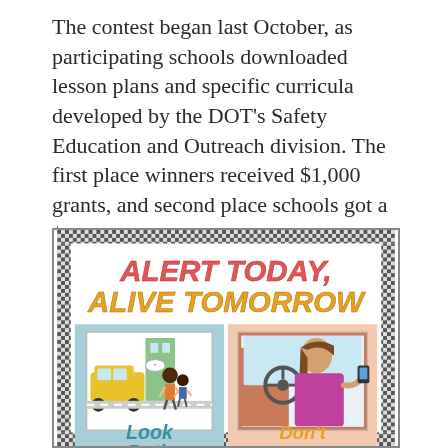The contest began last October, as participating schools downloaded lesson plans and specific curricula developed by the DOT's Safety Education and Outreach division. The first place winners received $1,000 grants, and second place schools got a $250 prize.
[Figure (illustration): A poster titled 'ALERT TODAY, ALIVE TOMORROW' featuring two student-drawn images: on the left, two children near a yellow car at a crosswalk with text 'Look Both' (implied: 'Ways'); on the right, a woman driving a car distracted by a phone with text 'Don't Text and' (implied: 'Drive').]